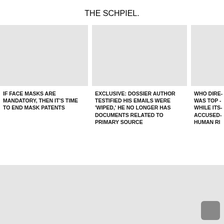THE SCHPIEL.
[Figure (photo): Gray placeholder image for article 1]
IF FACE MASKS ARE MANDATORY, THEN IT'S TIME TO END MASK PATENTS
[Figure (photo): Gray placeholder image for article 2]
EXCLUSIVE: DOSSIER AUTHOR TESTIFIED HIS EMAILS WERE 'WIPED,' HE NO LONGER HAS DOCUMENTS RELATED TO PRIMARY SOURCE
[Figure (photo): Gray placeholder image for article 3 (partially visible)]
WHO DIRE... WAS TOP ... WHILE ITS... ACCUSED... HUMAN RI...
[Figure (photo): Large gray placeholder image at bottom of page]